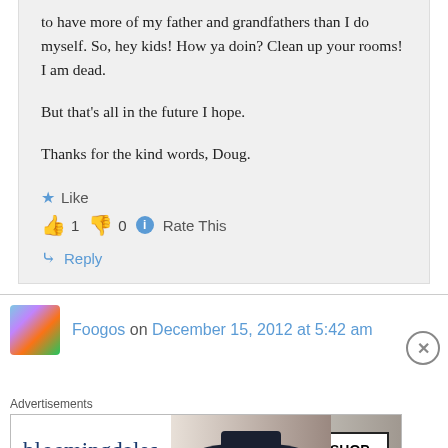to have more of my father and grandfathers than I do myself. So, hey kids! How ya doin? Clean up your rooms! I am dead.

But that's all in the future I hope.

Thanks for the kind words, Doug.
Like
👍 1  👎 0  ℹ Rate This
Reply
Foogos on December 15, 2012 at 5:42 am
[Figure (other): Bloomingdale's advertisement banner with model in hat, 'View Today's Top Deals!' and 'SHOP NOW >' button]
Advertisements